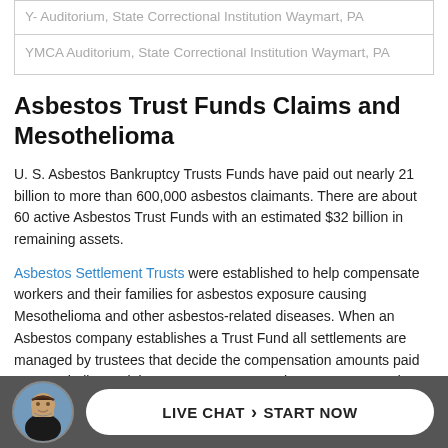| Y- Auditorium, State Correctional Institution Waymart, PA |
| YMCA Auditorium, State Correctional Institution Waymart, PA |
Asbestos Trust Funds Claims and Mesothelioma
U. S. Asbestos Bankruptcy Trusts Funds have paid out nearly 21 billion to more than 600,000 asbestos claimants. There are about 60 active Asbestos Trust Funds with an estimated $32 billion in remaining assets.
Asbestos Settlement Trusts were established to help compensate workers and their families for asbestos exposure causing Mesothelioma and other asbestos-related diseases. When an Asbestos company establishes a Trust Fund all settlements are managed by trustees that decide the compensation amounts paid to Mesothelioma claimants. U. S. Cour... Asb... nder
[Figure (other): Live Chat bar with attorney avatar, LIVE CHAT > START NOW button]